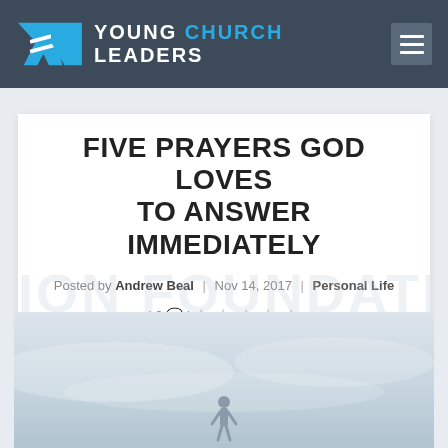YOUNG CHURCH LEADERS
FIVE PRAYERS GOD LOVES TO ANSWER IMMEDIATELY
Posted by Andrew Beal | Nov 14, 2017 | Personal Life | 0 💬 | ★★★★★
[Figure (photo): A misty sky background photo with a small human figure silhouette at the bottom center]